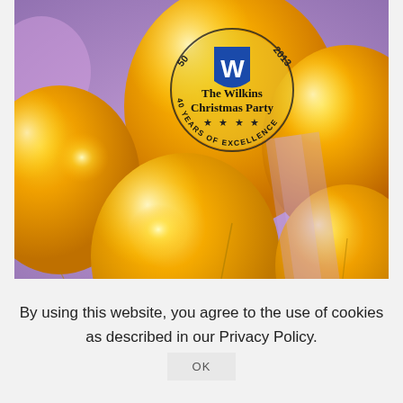[Figure (photo): Close-up photograph of golden/yellow balloons, one of which has a circular logo reading 'The Wilkins Christmas Party' with '40 YEARS OF EXCELLENCE' and a blue W emblem on a blue shield. Background shows purple/lavender decorations out of focus.]
By using this website, you agree to the use of cookies as described in our Privacy Policy. OK